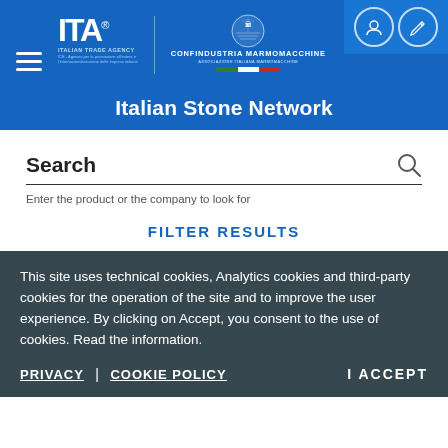[Figure (logo): Italian Trade Agency (ITA) logo with text 'ITALIAN TRADE AGENCY' and Confindustria Marmomacchine logo with Italian flag colors, inside blue header bar]
Italian Stone Network
Search
Enter the product or the company to look for
FILTER RESULTS
This site uses technical cookies, Analytics cookies and third-party cookies for the operation of the site and to improve the user experience. By clicking on Accept, you consent to the use of cookies. Read the information.
PRIVACY | COOKIE POLICY    I ACCEPT